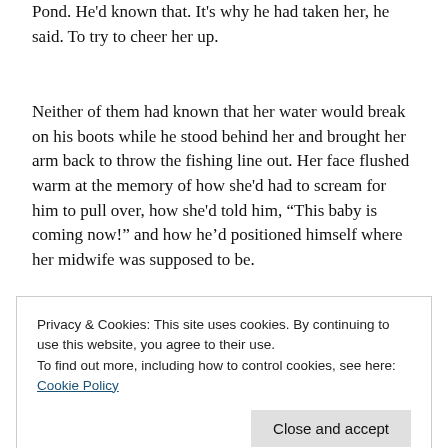Pond. He'd known that. It's why he had taken her, he said. To try to cheer her up.
Neither of them had known that her water would break on his boots while he stood behind her and brought her arm back to throw the fishing line out. Her face flushed warm at the memory of how she'd had to scream for him to pull over, how she'd told him, “This baby is coming now!” and how he’d positioned himself where her midwife was supposed to be.
Privacy & Cookies: This site uses cookies. By continuing to use this website, you agree to their use.
To find out more, including how to control cookies, see here: Cookie Policy
a word about all that he'd seen that he shouldn't